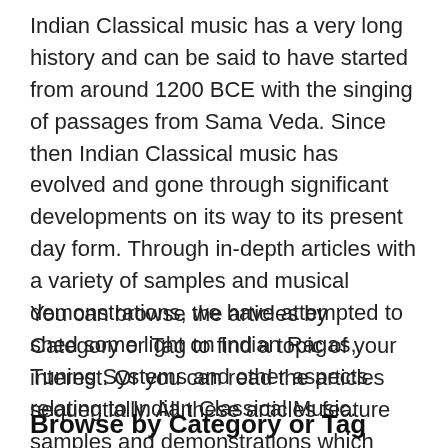Indian Classical music has a very long history and can be said to have started from around 1200 BCE with the singing of passages from Sama Veda. Since then Indian Classical music has evolved and gone through significant developments on its way to its present day form. Through in-depth articles with a variety of samples and musical demonstrations, we have attempted to shed some light on Indian Ragas, Tuning Systems and other aspects relating to Indian Classical Music.
You can browse the articles by Category or Tag to find a topic of your interest. Or you can read the articles sequentially. All these articles feature samples and demonstrations which have been created using the PureTones App.
Browse by Category or Tag